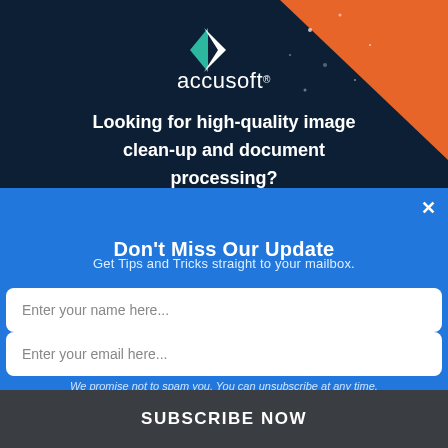[Figure (screenshot): Accusoft advertisement banner with dark navy background and orange triangle corner. Shows Accusoft logo with green/teal arrow icon and white text: 'Looking for high-quality image clean-up and document processing?']
Don't Miss Our Update
Get Tips and Tricks straight to your mailbox.
Enter your name here...
Enter your email here...
We promise not to spam you. You can unsubscribe at any time.
SUBSCRIBE NOW